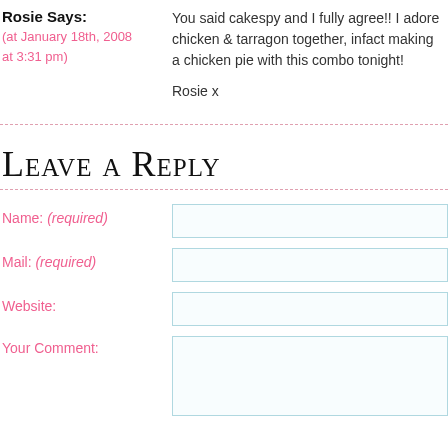Rosie Says:
(at January 18th, 2008 at 3:31 pm)
You said cakespy and I fully agree!! I adore chicken & tarragon together, infact making a chicken pie with this combo tonight!

Rosie x
Leave a Reply
Name: (required)
Mail: (required)
Website:
Your Comment: